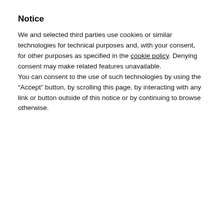Notice
We and selected third parties use cookies or similar technologies for technical purposes and, with your consent, for other purposes as specified in the cookie policy. Denying consent may make related features unavailable.
You can consent to the use of such technologies by using the “Accept” button, by scrolling this page, by interacting with any link or button outside of this notice or by continuing to browse otherwise.
[Figure (screenshot): Reject button (blue rounded), Accept button (blue rounded), Learn more and customize button (grey rounded), heart icon button (teal circle), share icon, count 42, What's Next bar with Burricleta preview, bottom beach image strip, ad banner 'Actions speak louder than words.']